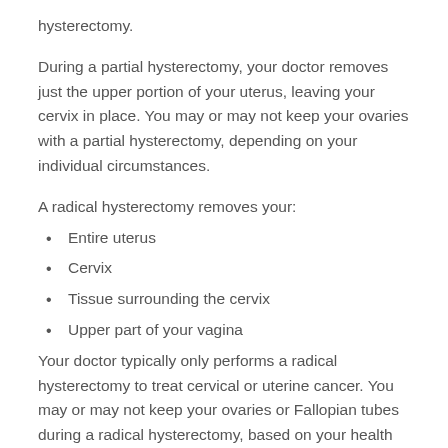hysterectomy.
During a partial hysterectomy, your doctor removes just the upper portion of your uterus, leaving your cervix in place. You may or may not keep your ovaries with a partial hysterectomy, depending on your individual circumstances.
A radical hysterectomy removes your:
Entire uterus
Cervix
Tissue surrounding the cervix
Upper part of your vagina
Your doctor typically only performs a radical hysterectomy to treat cervical or uterine cancer. You may or may not keep your ovaries or Fallopian tubes during a radical hysterectomy, based on your health needs.